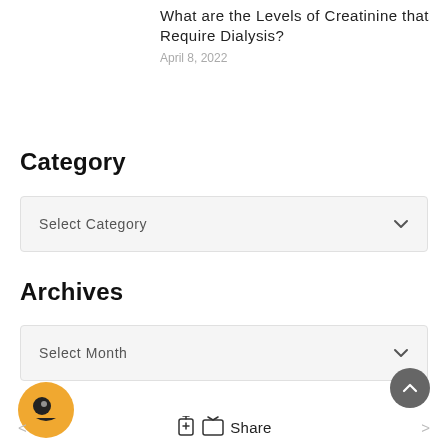What are the Levels of Creatinine that Require Dialysis?
April 8, 2022
Category
[Figure (other): Dropdown select box labeled 'Select Category' with chevron]
Archives
[Figure (other): Dropdown select box labeled 'Select Month' with chevron]
[Figure (other): Scroll-to-top circular button with upward chevron icon]
[Figure (other): Orange circular chat bubble widget icon]
< Share >